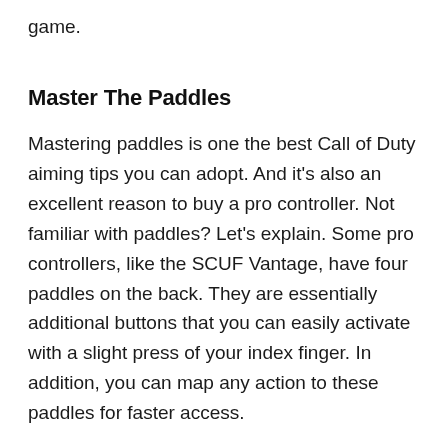game.
Master The Paddles
Mastering paddles is one the best Call of Duty aiming tips you can adopt. And it’s also an excellent reason to buy a pro controller. Not familiar with paddles? Let’s explain. Some pro controllers, like the SCUF Vantage, have four paddles on the back. They are essentially additional buttons that you can easily activate with a slight press of your index finger. In addition, you can map any action to these paddles for faster access.
More than just extra buttons, however, these